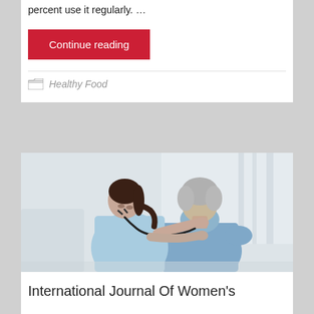percent use it regularly. …
Continue reading
Healthy Food
[Figure (photo): A female nurse or doctor in light blue scrubs using a stethoscope to examine the back of an elderly male patient with gray hair, sitting with his back to the camera in a blue shirt. Clinical setting with soft light background.]
International Journal Of Women's